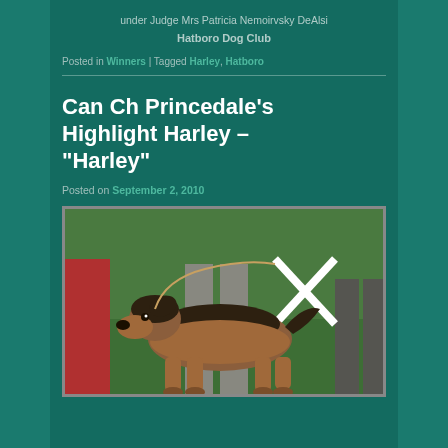under Judge Mrs Patricia Nemoirvsky DeAlsi
Hatboro Dog Club
Posted in Winners | Tagged Harley, Hatboro
Can Ch Princedale’s Highlight Harley – “Harley”
Posted on September 2, 2010
[Figure (photo): An Airedale Terrier dog standing on grass at a dog show, with handlers visible in the background. The dog has a brown and black coat.]